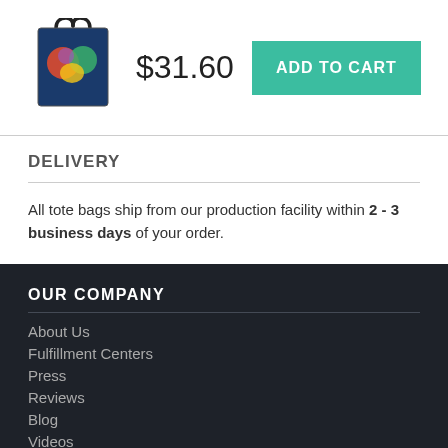[Figure (photo): Tote bag product image with colorful cartoon design on dark blue background, with black handles visible at top]
$31.60
ADD TO CART
DELIVERY
All tote bags ship from our production facility within 2 - 3 business days of your order.
OUR COMPANY
About Us
Fulfillment Centers
Press
Reviews
Blog
Videos
Wholesale Prints
Gig Posters
Sell Merch Online